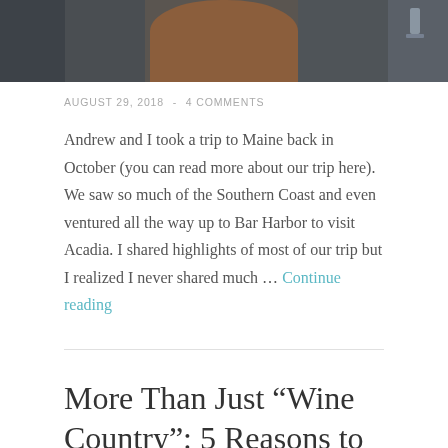[Figure (photo): Partial view of a wooden building exterior with a rounded arch door and weathered wood siding, cropped at top of page]
AUGUST 29, 2018  -  4 COMMENTS
Andrew and I took a trip to Maine back in October (you can read more about our trip here). We saw so much of the Southern Coast and even ventured all the way up to Bar Harbor to visit Acadia. I shared highlights of most of our trip but I realized I never shared much … Continue reading
More Than Just “Wine Country”: 5 Reasons to Visit Napa